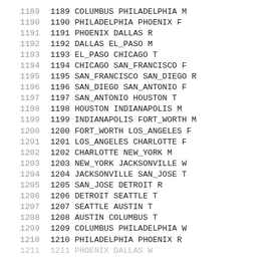| line | content |
| --- | --- |
| 1189 | 1189 COLUMBUS PHILADELPHIA M |
| 1190 | 1190 PHILADELPHIA PHOENIX F |
| 1191 | 1191 PHOENIX DALLAS R |
| 1192 | 1192 DALLAS EL_PASO M |
| 1193 | 1193 EL_PASO CHICAGO T |
| 1194 | 1194 CHICAGO SAN_FRANCISCO F |
| 1195 | 1195 SAN_FRANCISCO SAN_DIEGO R |
| 1196 | 1196 SAN_DIEGO SAN_ANTONIO F |
| 1197 | 1197 SAN_ANTONIO HOUSTON T |
| 1198 | 1198 HOUSTON INDIANAPOLIS M |
| 1199 | 1199 INDIANAPOLIS FORT_WORTH M |
| 1200 | 1200 FORT_WORTH LOS_ANGELES F |
| 1201 | 1201 LOS_ANGELES CHARLOTTE F |
| 1202 | 1202 CHARLOTTE NEW_YORK M |
| 1203 | 1203 NEW_YORK JACKSONVILLE W |
| 1204 | 1204 JACKSONVILLE SAN_JOSE T |
| 1205 | 1205 SAN_JOSE DETROIT R |
| 1206 | 1206 DETROIT SEATTLE T |
| 1207 | 1207 SEATTLE AUSTIN T |
| 1208 | 1208 AUSTIN COLUMBUS T |
| 1209 | 1209 COLUMBUS PHILADELPHIA W |
| 1210 | 1210 PHILADELPHIA PHOENIX R |
| 1211 | 1211 PHOENIX DALLAS W |